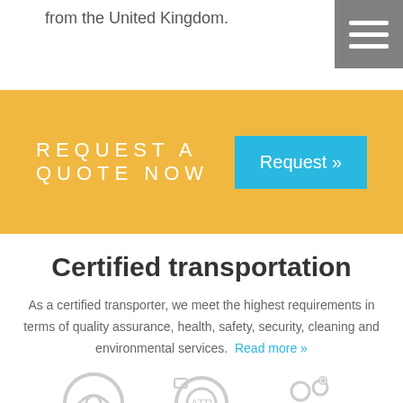from the United Kingdom.
[Figure (other): Hamburger menu icon (three horizontal lines) on a grey background]
REQUEST A QUOTE NOW
Request »
Certified transportation
As a certified transporter, we meet the highest requirements in terms of quality assurance, health, safety, security, cleaning and environmental services. Read more »
[Figure (illustration): Three certification/service icons at the bottom of the page]